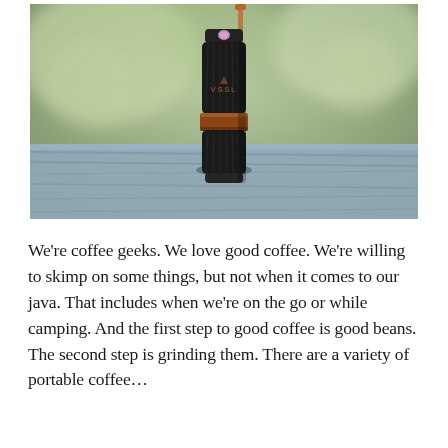[Figure (photo): A portable manual coffee grinder (branded VSSL) standing upright on a weathered wooden surface outdoors, with a blurred green background. The grinder is cylindrical, black with a copper/brown band in the middle and a copper-colored handle on top.]
We're coffee geeks. We love good coffee. We're willing to skimp on some things, but not when it comes to our java. That includes when we're on the go or while camping. And the first step to good coffee is good beans. The second step is grinding them. There are a variety of portable coffee…